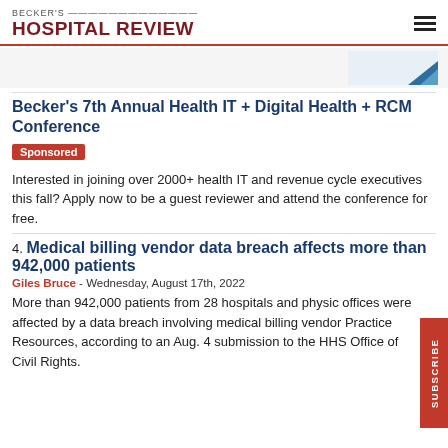BECKER'S HOSPITAL REVIEW
[Figure (illustration): Advertisement banner with blue graphic on right side]
Becker's 7th Annual Health IT + Digital Health + RCM Conference
Sponsored
Interested in joining over 2000+ health IT and revenue cycle executives this fall? Apply now to be a guest reviewer and attend the conference for free.
4. Medical billing vendor data breach affects more than 942,000 patients
Giles Bruce - Wednesday, August 17th, 2022
More than 942,000 patients from 28 hospitals and physician offices were affected by a data breach involving medical billing vendor Practice Resources, according to an Aug. 4 submission to the HHS Office of Civil Rights.